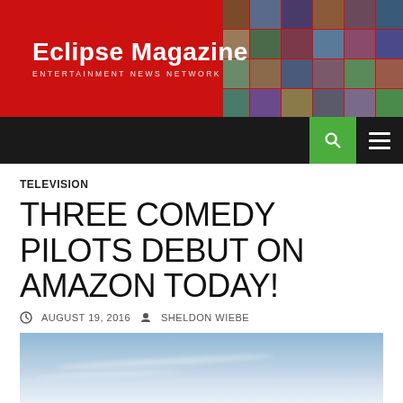Eclipse Magazine — ENTERTAINMENT NEWS NETWORK
TELEVISION
THREE COMEDY PILOTS DEBUT ON AMAZON TODAY!
AUGUST 19, 2016   SHELDON WIEBE
[Figure (photo): Sky with clouds, blue sky background image]